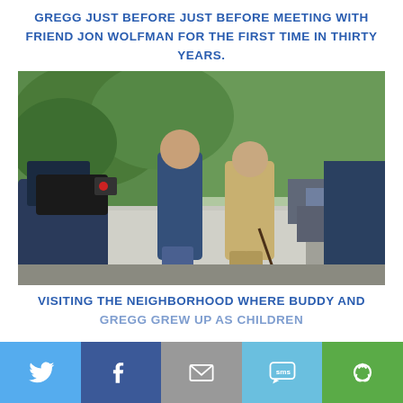GREGG JUST BEFORE JUST BEFORE MEETING WITH FRIEND JON WOLFMAN FOR THE FIRST TIME IN THIRTY YEARS.
[Figure (photo): Two men walking on a sidewalk toward a camera crew. The man on the left wears a dark blue short-sleeve shirt and jeans. The man on the right wears a tan/beige blazer and uses a cane. Lush green trees and parked cars are visible in the background. In the foreground are the backs of camera operators.]
VISITING THE NEIGHBORHOOD WHERE BUDDY AND
Social share bar: Twitter, Facebook, Email, SMS, Share